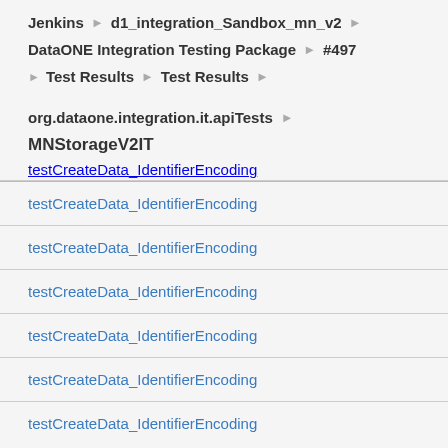Jenkins › d1_integration_Sandbox_mn_v2 ›
DataONE Integration Testing Package › #497
▶ Test Results › Test Results ›
org.dataone.integration.it.apiTests ›
MNStorageV2IT
testCreateData_IdentifierEncoding
testCreateData_IdentifierEncoding
testCreateData_IdentifierEncoding
testCreateData_IdentifierEncoding
testCreateData_IdentifierEncoding
testCreateData_IdentifierEncoding
testCreateData_IdentifierEncoding